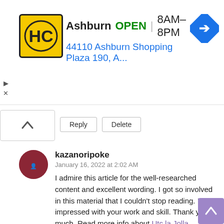[Figure (infographic): Ad banner for Harriet's Kitchen (HC logo in yellow/black) showing Ashburn location, OPEN status, hours 8AM-8PM, address 44110 Ashburn Shopping Plaza 190, A..., navigation arrow icon, and ad close controls]
Reply   Delete
kazanoripoke
January 16, 2022 at 2:02 AM

I admire this article for the well-researched content and excellent wording. I got so involved in this material that I couldn't stop reading. I am impressed with your work and skill. Thank you so much. Read more info about Utc la Jolla restaurant
Reply   Delete
Back Nine Pizza & Pub
January 27, 2022 at 4:54 PM

I always prefer to read the quality content and this thing I found in your post about Local pizza